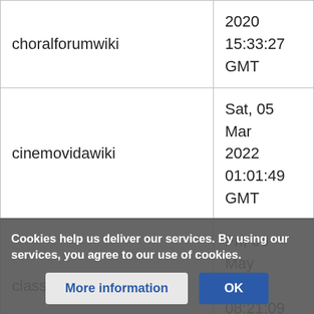| Wiki | Date |
| --- | --- |
| choralforumwiki | 2020 15:33:27 GMT |
| cinemovidawiki | Sat, 05 Mar 2022 01:01:49 GMT |
| classicsonicwiki | Fri, 06 May 2022 08:21:09 GMT |
Cookies help us deliver our services. By using our services, you agree to our use of cookies.